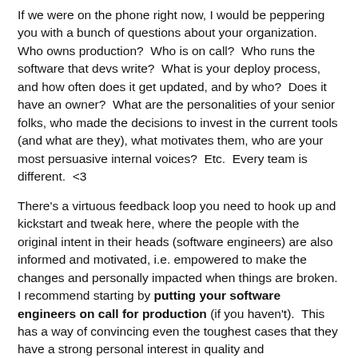If we were on the phone right now, I would be peppering you with a bunch of questions about your organization.  Who owns production?  Who is on call?  Who runs the software that devs write?  What is your deploy process, and how often does it get updated, and by who?  Does it have an owner?  What are the personalities of your senior folks, who made the decisions to invest in the current tools (and what are they), what motivates them, who are your most persuasive internal voices?  Etc.  Every team is different.  <3
There's a virtuous feedback loop you need to hook up and kickstart and tweak here, where the people with the original intent in their heads (software engineers) are also informed and motivated, i.e. empowered to make the changes and personally impacted when things are broken. I recommend starting by putting your software engineers on call for production (if you haven't).  This has a way of convincing even the toughest cases that they have a strong personal interest in quality and understandability.
Pay attention to your feedback loop and the alignment of